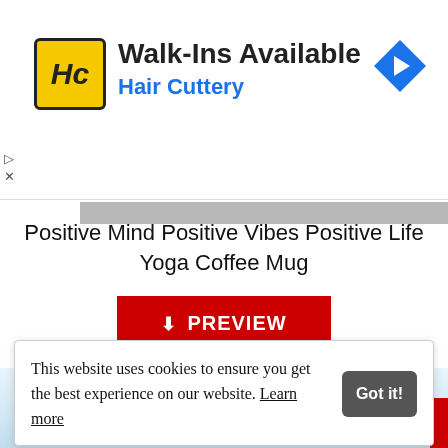[Figure (screenshot): Hair Cuttery advertisement banner with yellow-black HC logo, 'Walk-Ins Available' heading, 'Hair Cuttery' subtitle in blue, and blue diamond navigation arrow icon on right]
Positive Mind Positive Vibes Positive Life Yoga Coffee Mug
[Figure (other): Red PREVIEW button with download icon]
[Figure (other): Light blue background with 'Happy Sunday!' text in large italic serif font]
This website uses cookies to ensure you get the best experience on our website. Learn more